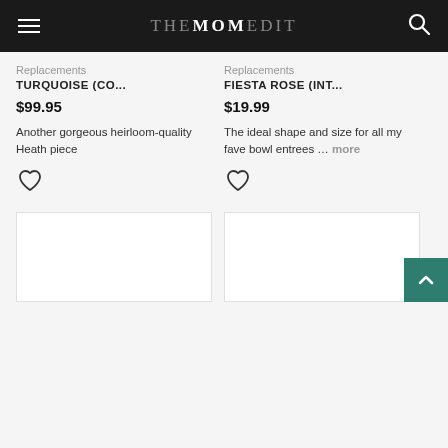THE MOM EDIT
Replacements
TURQUOISE (CO...
$99.95
Another gorgeous heirloom-quality Heath piece
Replacements
FIESTA ROSE (INT...
$19.99
The ideal shape and size for all my fave bowl entrees ... more
[Figure (illustration): Bottom product cards, partially visible]
[Figure (illustration): Back to top button, teal/green color with up arrow]